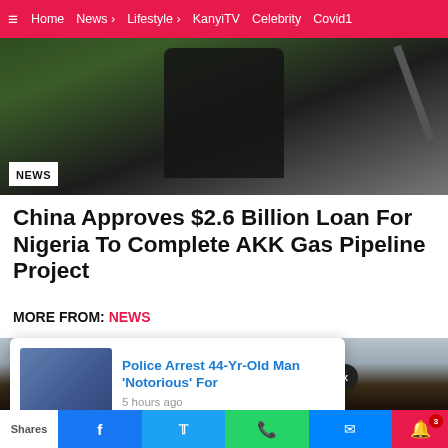Home  News  Lifestyle  KanyiTV  Celebrity  Covid1
[Figure (photo): Person in dark clothing near a microphone, with NEWS badge overlay]
China Approves $2.6 Billion Loan For Nigeria To Complete AKK Gas Pipeline Project
MORE FROM: NEWS
[Figure (photo): Portrait of elderly man with white hair against grey background]
Police Arrest 44-Yr-Old Man 'Notorious' For
5 hours ago